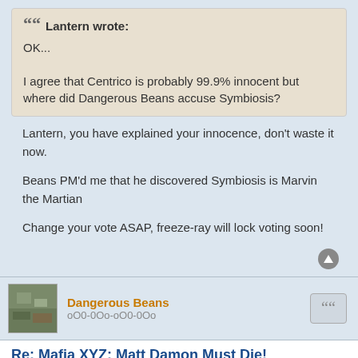Lantern wrote:
OK...

I agree that Centrico is probably 99.9% innocent but where did Dangerous Beans accuse Symbiosis?
Lantern, you have explained your innocence, don't waste it now.

Beans PM'd me that he discovered Symbiosis is Marvin the Martian

Change your vote ASAP, freeze-ray will lock voting soon!
Dangerous Beans
oO0-0Oo-oO0-0Oo
Re: Mafia XYZ: Matt Damon Must Die!
Fri Dec 09, 2016 11:23 pm
Red Beard
Symbiosis
Dangerous Beans
George874
Which innocent will you vote off next?